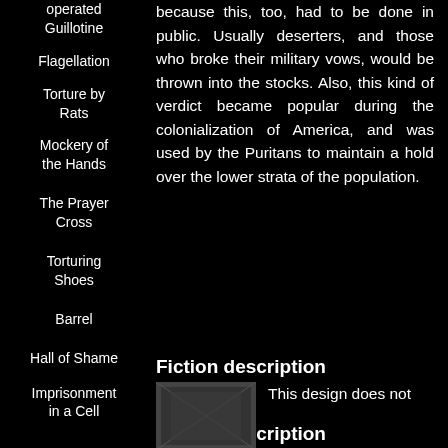operated Guillotine
Flagellation
Torture by Rats
Mockery of the Hands
The Prayer Cross
Torturing Shoes
Barrel
Hall of Shame
Imprisonment in a Cell
because this, too, had to be done in public. Usually deserters, and those who broke their military vows, would be thrown into the stocks. Also, this kind of verdict became popular during the colonialization of America, and was used by the Puritans to maintain a hold over the lower strata of the population.
Fiction description
This design does not